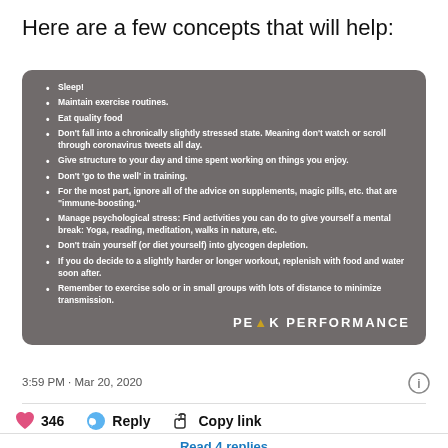Here are a few concepts that will help:
Sleep!
Maintain exercise routines.
Eat quality food
Don't fall into a chronically slightly stressed state. Meaning don't watch or scroll through coronavirus tweets all day.
Give structure to your day and time spent working on things you enjoy.
Don't 'go to the well' in training.
For the most part, ignore all of the advice on supplements, magic pills, etc. that are “immune-boosting.”
Manage psychological stress: Find activities you can do to give yourself a mental break: Yoga, reading, meditation, walks in nature, etc.
Don't train yourself (or diet yourself) into glycogen depletion.
If you do decide to a slightly harder or longer workout, replenish with food and water soon after.
Remember to exercise solo or in small groups with lots of distance to minimize transmission.
3:59 PM · Mar 20, 2020
346  Reply  Copy link
Read 4 replies